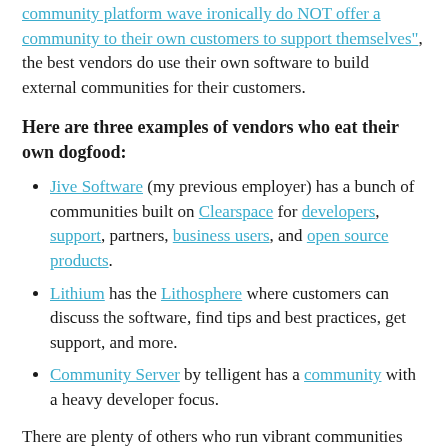community platform wave ironically do NOT offer a community to their own customers to support themselves", the best vendors do use their own software to build external communities for their customers.
Here are three examples of vendors who eat their own dogfood:
Jive Software (my previous employer) has a bunch of communities built on Clearspace for developers, support, partners, business users, and open source products.
Lithium has the Lithosphere where customers can discuss the software, find tips and best practices, get support, and more.
Community Server by telligent has a community with a heavy developer focus.
There are plenty of others who run vibrant communities for users of their platform; however, I was surprised by how many